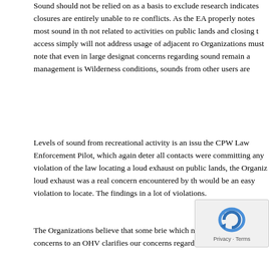Sound should not be relied on as a basis to exclude research indicates closures are entirely unable to re conflicts. As the EA properly notes most sound in th not related to activities on public lands and closing t access simply will not address usage of adjacent ro Organizations must note that even in large designat concerns regarding sound remain a management is Wilderness conditions, sounds from other users are
Levels of sound from recreational activity is an issu the CPW Law Enforcement Pilot, which again deter all contacts were committing any violation of the law locating a loud exhaust on public lands, the Organiz loud exhaust was a real concern encountered by th would be an easy violation to locate. The findings in a lot of violations.
The Organizations believe that some brie which never generate sound concerns to an OHV clarifies our concerns regarding sensitivity
[Figure (other): reCAPTCHA widget overlay showing a circular arrow icon and 'Privacy - Terms' text]